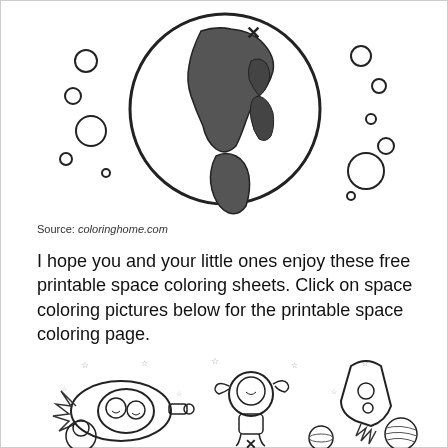[Figure (illustration): Black and white coloring page illustration showing Earth globe with continents and an X mark, surrounded by small circles/bubbles on both sides]
Source: coloringhome.com
I hope you and your little ones enjoy these free printable space coloring sheets. Click on space coloring pictures below for the printable space coloring page.
[Figure (illustration): Black and white coloring page illustration showing children astronauts floating in space with stars, a rocket ship, and planets]